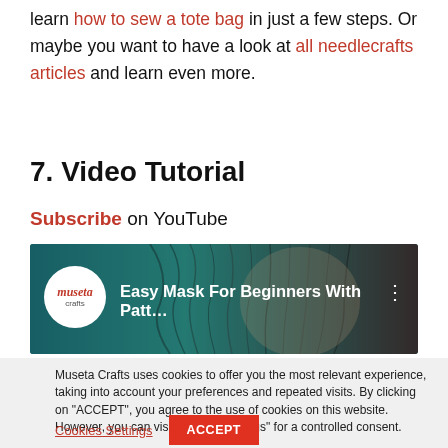learn how to sew a tote bag in just a few steps. Or maybe you want to have a look at all needlecrafts articles and learn even more.
7. Video Tutorial
Subscribe on YouTube
[Figure (screenshot): YouTube video thumbnail showing 'Easy Mask For Beginners With Patt...' with museta crafts logo on dark teal/photo background]
Museta Crafts uses cookies to offer you the most relevant experience, taking into account your preferences and repeated visits. By clicking on "ACCEPT", you agree to the use of cookies on this website. However, you can visit "Cookie Settings" for a controlled consent.
Cookies Settings  ACCEPT